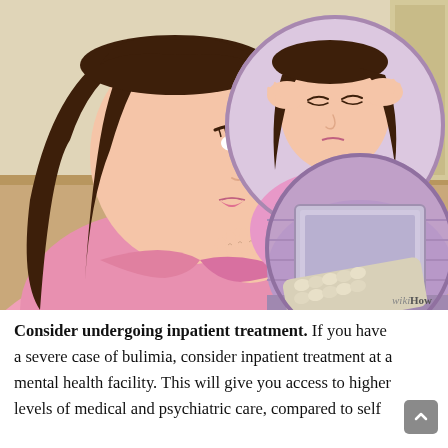[Figure (illustration): WikiHow style illustration showing a woman with long dark hair in a pink top resting her chin on her hand, looking thoughtful. In the upper right is a circular inset of a woman with her hands on her temples looking distressed/in pain. In the lower right is another circular inset showing a blister pack of pills/medication on a purple background. The main background is a room interior.]
Consider undergoing inpatient treatment. If you have a severe case of bulimia, consider inpatient treatment at a mental health facility. This will give you access to higher levels of medical and psychiatric care, compared to self